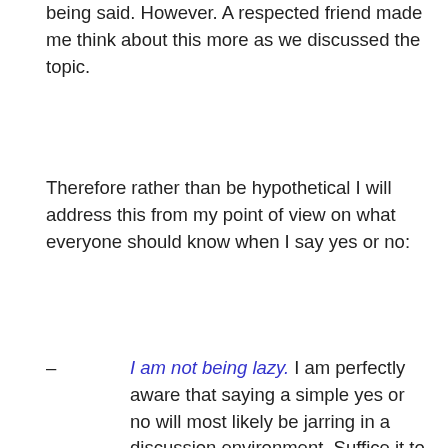being said. However. A respected friend made me think about this more as we discussed the topic.
Therefore rather than be hypothetical I will address this from my point of view on what everyone should know when I say yes or no:
– I am not being lazy. I am perfectly aware that saying a simple yes or no will most likely be jarring in a discussion environment. Suffice it to say that if I have